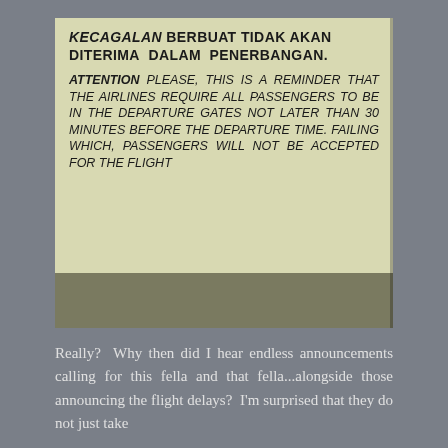[Figure (photo): A photo of an airport sign in both Malay and English. The sign reads (partially visible top): 'KECUAIAN BERBUAT TIDAK AKAN DITERIMA DALAM PENERBANGAN.' Below in bold italic: 'ATTENTION PLEASE, THIS IS A REMINDER THAT THE AIRLINES REQUIRE ALL PASSENGERS TO BE IN THE DEPARTURE GATES NOT LATER THAN 30 MINUTES BEFORE THE DEPARTURE TIME. FAILING WHICH, PASSENGERS WILL NOT BE ACCEPTED FOR THE FLIGHT']
Really? Why then did I hear endless announcements calling for this fella and that fella...alongside those announcing the flight delays? I'm surprised that they do not just take